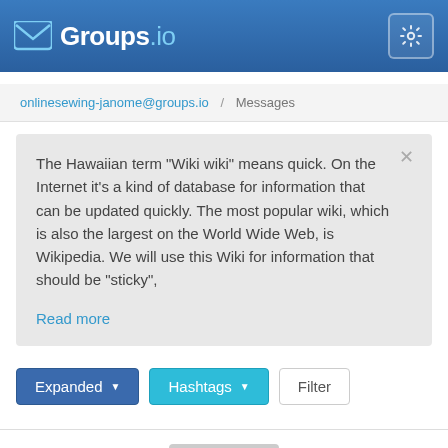Groups.io
onlinesewing-janome@groups.io / Messages
The Hawaiian term "Wiki wiki" means quick. On the Internet it's a kind of database for information that can be updated quickly. The most popular wiki, which is also the largest on the World Wide Web, is Wikipedia. We will use this Wiki for information that should be "sticky",
Read more
Expanded  Hashtags  Filter